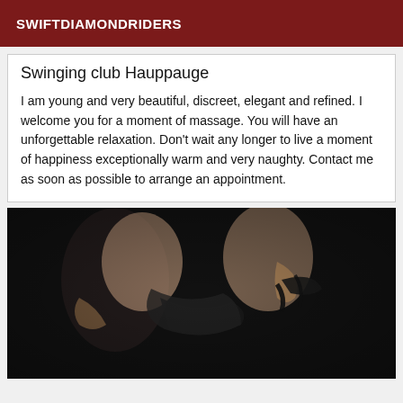SWIFTDIAMONDRIDERS
Swinging club Hauppauge
I am young and very beautiful, discreet, elegant and refined. I welcome you for a moment of massage. You will have an unforgettable relaxation. Don't wait any longer to live a moment of happiness exceptionally warm and very naughty. Contact me as soon as possible to arrange an appointment.
[Figure (photo): Black and white artistic photo showing two figures in close contact against a dark background]